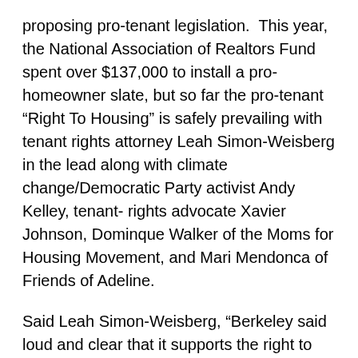proposing pro-tenant legislation. This year, the National Association of Realtors Fund spent over $137,000 to install a pro-homeowner slate, but so far the pro-tenant “Right To Housing” is safely prevailing with tenant rights attorney Leah Simon-Weisberg in the lead along with climate change/Democratic Party activist Andy Kelley, tenant- rights advocate Xavier Johnson, Dominque Walker of the Moms for Housing Movement, and Mari Mendonca of Friends of Adeline.
Said Leah Simon-Weisberg, “Berkeley said loud and clear that it supports the right to housing, rent control, and will not be tricked by dark money.”